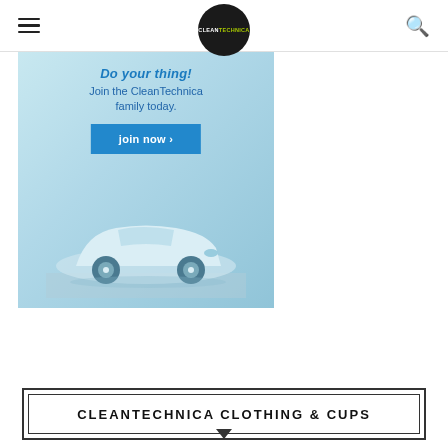CleanTechnica
[Figure (illustration): CleanTechnica membership advertisement banner showing a Tesla Model 3 electric car in blue tones with text 'Do your thing! Join the CleanTechnica family today.' and a blue 'join now >' button]
CLEANTECHNICA CLOTHING & CUPS